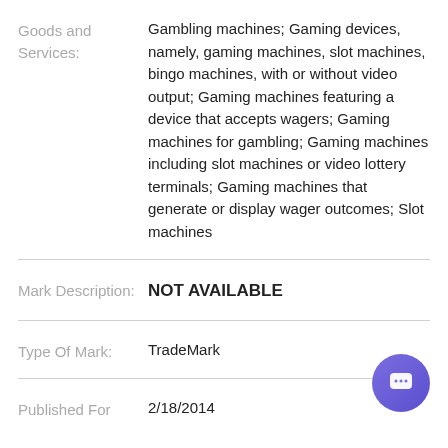Goods and Services: Gambling machines; Gaming devices, namely, gaming machines, slot machines, bingo machines, with or without video output; Gaming machines featuring a device that accepts wagers; Gaming machines for gambling; Gaming machines including slot machines or video lottery terminals; Gaming machines that generate or display wager outcomes; Slot machines
Mark Description: NOT AVAILABLE
Type Of Mark: TradeMark
Published For: 2/18/2014